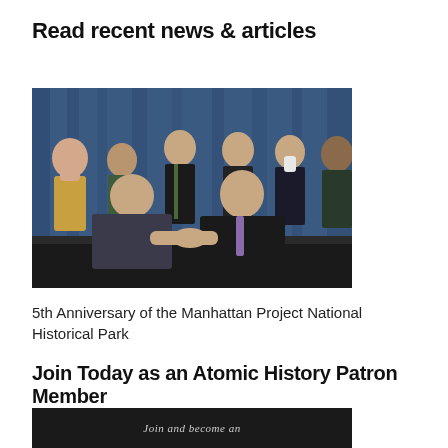Read recent news & articles
[Figure (photo): Group of officials at a signing ceremony, two people shaking hands while seated at a table, others standing behind them in front of a blue curtain backdrop.]
5th Anniversary of the Manhattan Project National Historical Park
Join Today as an Atomic History Patron Member
[Figure (photo): Dark promotional image with cursive text reading 'Join and become an']